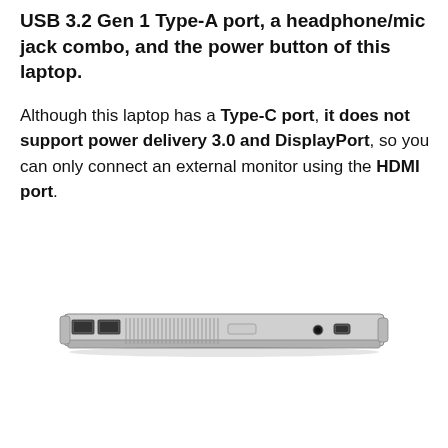USB 3.2 Gen 1 Type-A port, a headphone/mic jack combo, and the power button of this laptop.
Although this laptop has a Type-C port, it does not support power delivery 3.0 and DisplayPort, so you can only connect an external monitor using the HDMI port.
[Figure (photo): Side view of a laptop showing its left edge with USB ports, ventilation grilles, audio jack, and power button on a silver chassis.]